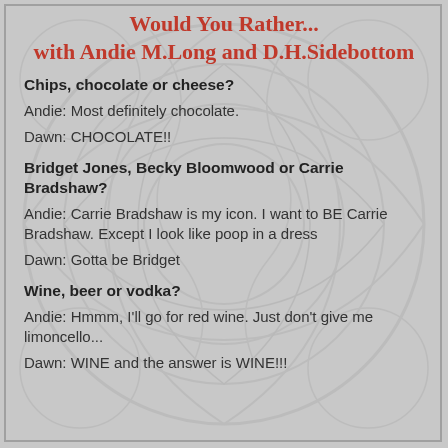Would You Rather... with Andie M.Long and D.H.Sidebottom
Chips, chocolate or cheese?
Andie: Most definitely chocolate.
Dawn: CHOCOLATE!!
Bridget Jones, Becky Bloomwood or Carrie Bradshaw?
Andie: Carrie Bradshaw is my icon. I want to BE Carrie Bradshaw. Except I look like poop in a dress
Dawn: Gotta be Bridget
Wine, beer or vodka?
Andie: Hmmm, I'll go for red wine. Just don't give me limoncello...
Dawn: WINE and the answer is WINE!!!